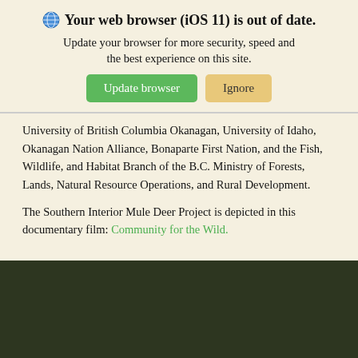[Figure (infographic): Browser update notification banner with globe icon, bold title 'Your web browser (iOS 11) is out of date.', subtitle text, and two buttons: green 'Update browser' and tan 'Ignore']
University of British Columbia Okanagan, University of Idaho, Okanagan Nation Alliance, Bonaparte First Nation, and the Fish, Wildlife, and Habitat Branch of the B.C. Ministry of Forests, Lands, Natural Resource Operations, and Rural Development.
The Southern Interior Mule Deer Project is depicted in this documentary film: Community for the Wild.